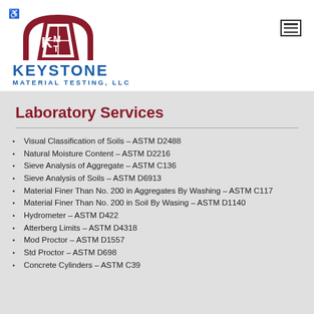[Figure (logo): Keystone Material Testing LLC logo with red arch/keystone shape and KMT letters, blue company name text]
Laboratory Services
Visual Classification of Soils – ASTM D2488
Natural Moisture Content – ASTM D2216
Sieve Analysis of Aggregate – ASTM C136
Sieve Analysis of Soils – ASTM D6913
Material Finer Than No. 200 in Aggregates By Washing – ASTM C117
Material Finer Than No. 200 in Soil By Wasing – ASTM D1140
Hydrometer – ASTM D422
Atterberg Limits – ASTM D4318
Mod Proctor – ASTM D1557
Std Proctor – ASTM D698
Concrete Cylinders – ASTM C39